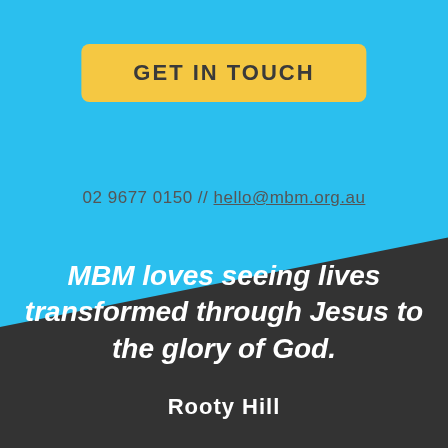GET IN TOUCH
02 9677 0150 // hello@mbm.org.au
MBM loves seeing lives transformed through Jesus to the glory of God.
Rooty Hill